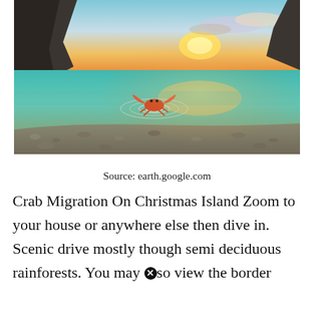[Figure (photo): A red crab in shallow turquoise water creating circular ripples, with a rocky shoreline in the foreground and a sunset sky reflected on a calm lagoon in the background, surrounded by dark rocky cliffs.]
Source: earth.google.com
Crab Migration On Christmas Island Zoom to your house or anywhere else then dive in. Scenic drive mostly though semi deciduous rainforests. You may ⓗso view the border